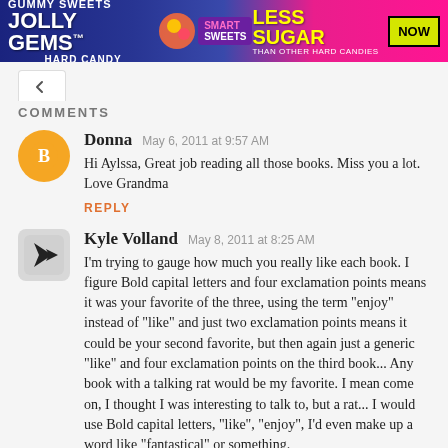[Figure (illustration): Advertisement banner: Jolly Gems Hard Candy ad with candy imagery, blue/pink gradient background, 'LESS SUGAR THAN OTHER HARD CANDIES' text in yellow, and a yellow-green 'NOW' button]
COMMENTS
[Figure (illustration): Orange circular avatar with a white blogger 'B' icon]
Donna   May 6, 2011 at 9:57 AM
Hi Aylssa, Great job reading all those books. Miss you a lot. Love Grandma
REPLY
[Figure (illustration): Grey rounded square avatar with a black arrow/cursor icon]
Kyle Volland   May 8, 2011 at 8:25 AM
I'm trying to gauge how much you really like each book. I figure Bold capital letters and four exclamation points means it was your favorite of the three, using the term "enjoy" instead of "like" and just two exclamation points means it could be your second favorite, but then again just a generic "like" and four exclamation points on the third book... Any book with a talking rat would be my favorite. I mean come on, I thought I was interesting to talk to, but a rat... I would use Bold capital letters, "like", "enjoy", I'd even make up a word like "fantastical" or something.